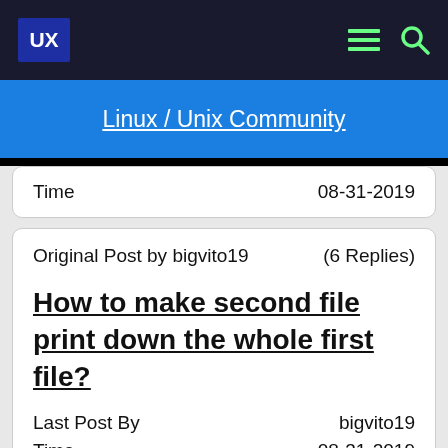UX | Linux / Unix Community
Time  08-31-2019
Original Post by bigvito19  (6 Replies)
How to make second file print down the whole first file?
Last Post By  bigvito19
Time  08-31-2019